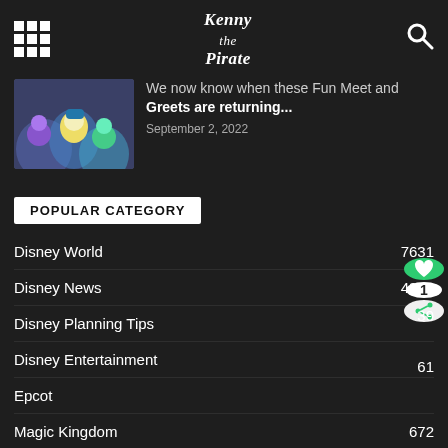Kenny the Pirate
We now know when these Fun Meet and Greets are returning... September 2, 2022
POPULAR CATEGORY
Disney World 7631
Disney News 4929
Disney Planning Tips 39
Disney Entertainment 61
Epcot 2
Magic Kingdom 672
Disneyland 597